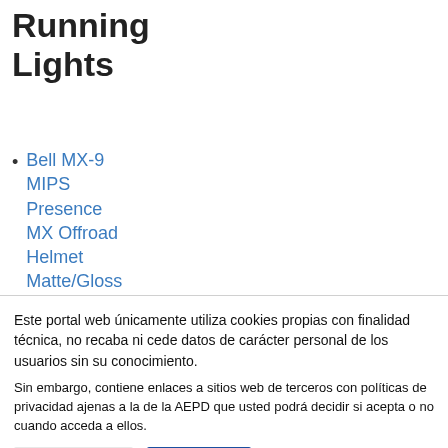Running Lights
Bell MX-9 MIPS Presence MX Offroad Helmet Matte/Gloss Black Titanium
Este portal web únicamente utiliza cookies propias con finalidad técnica, no recaba ni cede datos de carácter personal de los usuarios sin su conocimiento.
Sin embargo, contiene enlaces a sitios web de terceros con políticas de privacidad ajenas a la de la AEPD que usted podrá decidir si acepta o no cuando acceda a ellos.